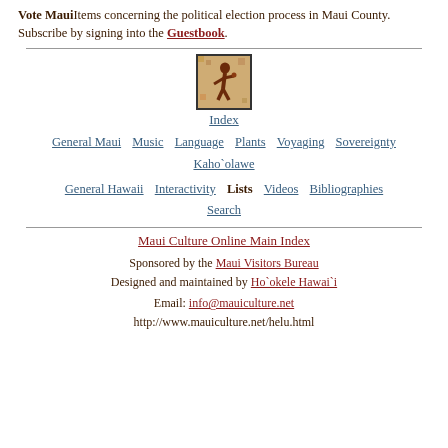Vote MauiItems concerning the political election process in Maui County. Subscribe by signing into the Guestbook.
[Figure (illustration): Small decorative image of a Hawaiian figure, framed with a dark border, used as an index icon]
Index
General Maui   Music   Language   Plants   Voyaging   Sovereignty   Kaho`olawe
General Hawaii   Interactivity   Lists   Videos   Bibliographies   Search
Maui Culture Online Main Index
Sponsored by the Maui Visitors Bureau
Designed and maintained by Ho`okele Hawai`i
Email: info@mauiculture.net
http://www.mauiculture.net/helu.html